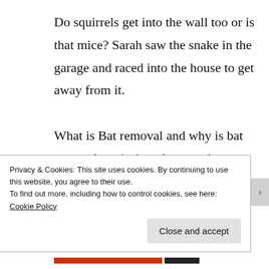Do squirrels get into the wall too or is that mice? Sarah saw the snake in the garage and raced into the house to get away from it.

What is Bat removal and why is bat removal a priority when you have bats in the attic? What's the number for a Bat control officer? I
Privacy & Cookies: This site uses cookies. By continuing to use this website, you agree to their use.
To find out more, including how to control cookies, see here: Cookie Policy
Close and accept